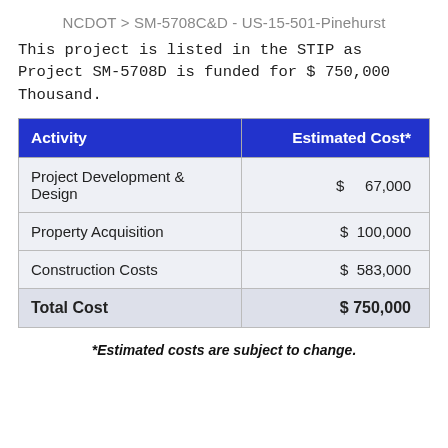NCDOT > SM-5708C&D - US-15-501-Pinehurst
This project is listed in the STIP as Project SM-5708D is funded for $ 750,000 Thousand.
| Activity | Estimated Cost* |
| --- | --- |
| Project Development & Design | $ 67,000 |
| Property Acquisition | $ 100,000 |
| Construction Costs | $ 583,000 |
| Total Cost | $ 750,000 |
*Estimated costs are subject to change.